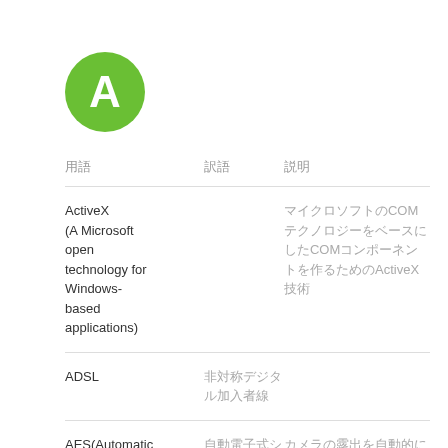[Figure (illustration): Green circle with white letter A]
| 用語 | 訳語 | 説明 |
| --- | --- | --- |
| ActiveX
(A Microsoft open technology for Windows-based applications) |  | マイクロソフトのCOMテクノロジーをベースにしたCOMコンポーネントを作るためのActiveX技術 |
| ADSL | 非対称デジタル加入者線 |  |
| AES(Automatic Electronic Shutter) | 自動電子式シャッター | カメラの露出を自動的に調整する機能 |
| AF (Auto | 自動焦点 | カメラの焦点を自動的に調整する機能 |